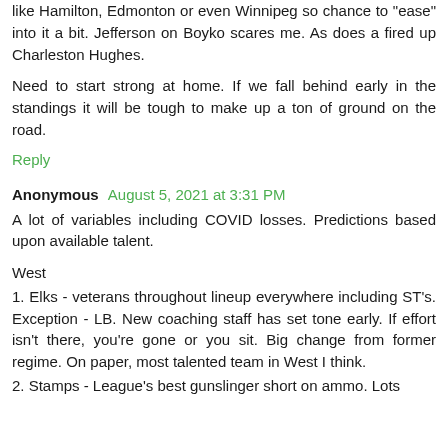like Hamilton, Edmonton or even Winnipeg so chance to "ease" into it a bit. Jefferson on Boyko scares me. As does a fired up Charleston Hughes.
Need to start strong at home. If we fall behind early in the standings it will be tough to make up a ton of ground on the road.
Reply
Anonymous August 5, 2021 at 3:31 PM
A lot of variables including COVID losses. Predictions based upon available talent.
West
1. Elks - veterans throughout lineup everywhere including ST's. Exception - LB. New coaching staff has set tone early. If effort isn't there, you're gone or you sit. Big change from former regime. On paper, most talented team in West I think.
2. Stamps - League's best gunslinger short on ammo. Lots